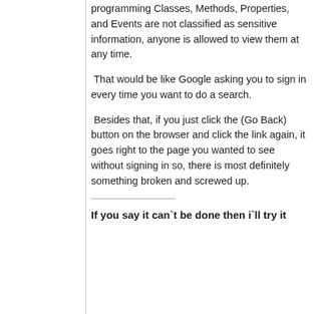programming Classes, Methods, Properties, and Events are not classified as sensitive information, anyone is allowed to view them at any time.
That would be like Google asking you to sign in every time you want to do a search.
Besides that, if you just click the (Go Back) button on the browser and click the link again, it goes right to the page you wanted to see without signing in so, there is most definitely something broken and screwed up.
If you say it can`t be done then i`ll try it